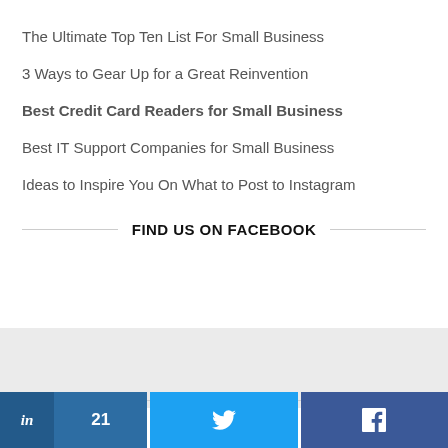The Ultimate Top Ten List For Small Business
3 Ways to Gear Up for a Great Reinvention
Best Credit Card Readers for Small Business
Best IT Support Companies for Small Business
Ideas to Inspire You On What to Post to Instagram
FIND US ON FACEBOOK
[Figure (other): Gray background block placeholder area for Facebook widget]
[Figure (other): Social share bar with LinkedIn (21), Twitter, and Facebook buttons]